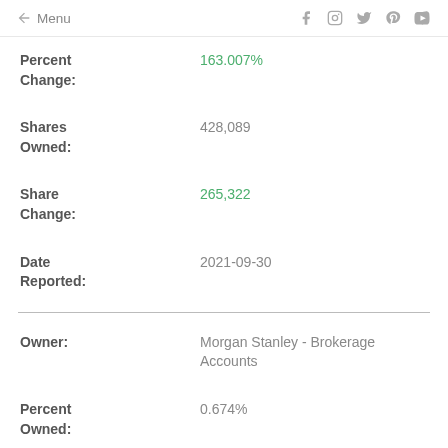← Menu  f  Instagram  Twitter  Pinterest  YouTube
Percent Change: 163.007%
Shares Owned: 428,089
Share Change: 265,322
Date Reported: 2021-09-30
Owner: Morgan Stanley - Brokerage Accounts
Percent Owned: 0.674%
Percent Change: 27.289%
Shares: 426,618